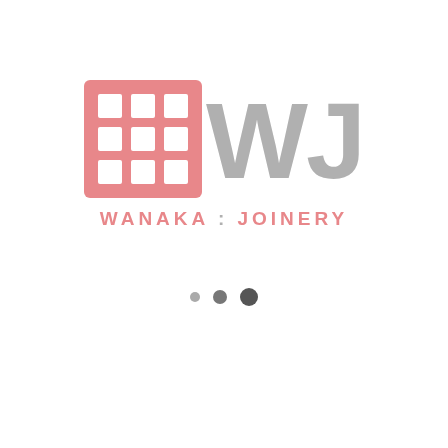[Figure (logo): Wanaka Joinery logo: a pink square grid icon (3x3 white squares inside a pink/salmon rounded square) next to large bold grey letters 'WJ', with the text 'WANAKA : JOINERY' in pink spaced lettering below, followed by three dots of increasing size and darkness below the logo.]